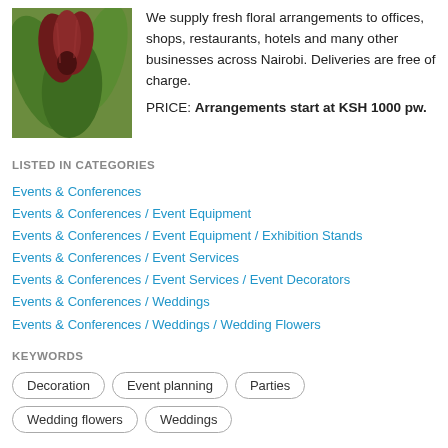[Figure (photo): Close-up photo of a flower with green leaves and dark red/maroon petals]
We supply fresh floral arrangements to offices, shops, restaurants, hotels and many other businesses across Nairobi. Deliveries are free of charge.
PRICE: Arrangements start at KSH 1000 pw.
LISTED IN CATEGORIES
Events & Conferences
Events & Conferences / Event Equipment
Events & Conferences / Event Equipment / Exhibition Stands
Events & Conferences / Event Services
Events & Conferences / Event Services / Event Decorators
Events & Conferences / Weddings
Events & Conferences / Weddings / Wedding Flowers
KEYWORDS
Decoration
Event planning
Parties
Wedding flowers
Weddings